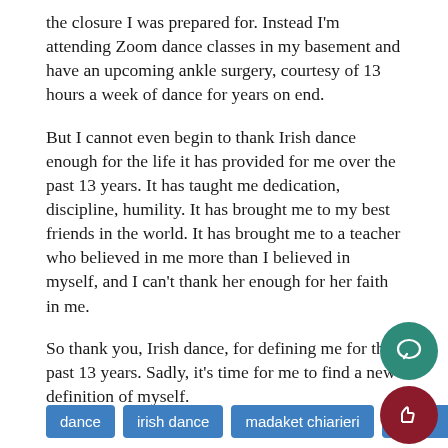the closure I was prepared for. Instead I'm attending Zoom dance classes in my basement and have an upcoming ankle surgery, courtesy of 13 hours a week of dance for years on end.
But I cannot even begin to thank Irish dance enough for the life it has provided for me over the past 13 years. It has taught me dedication, discipline, humility. It has brought me to my best friends in the world. It has brought me to a teacher who believed in me more than I believed in myself, and I can't thank her enough for her faith in me.
So thank you, Irish dance, for defining me for the past 13 years. Sadly, it's time for me to find a new definition of myself.
dance
irish dance
madaket chiarieri
senior